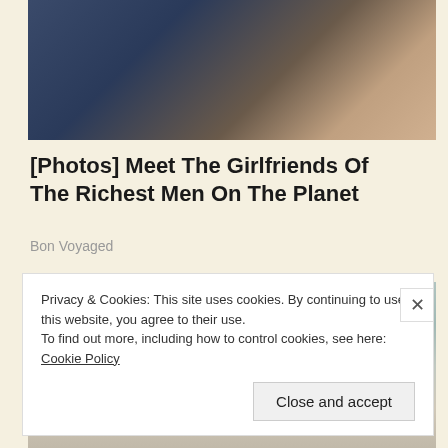[Figure (photo): Partial view of two people seated — a man in a dark suit and a woman in a lace top]
[Photos] Meet The Girlfriends Of The Richest Men On The Planet
Bon Voyaged
[Figure (photo): Doctor in white lab coat holding a pen, stethoscope visible around neck]
Privacy & Cookies: This site uses cookies. By continuing to use this website, you agree to their use.
To find out more, including how to control cookies, see here: Cookie Policy
Close and accept